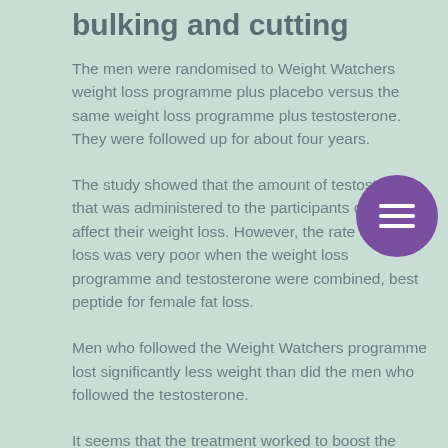bulking and cutting
The men were randomised to Weight Watchers weight loss programme plus placebo versus the same weight loss programme plus testosterone. They were followed up for about four years.
The study showed that the amount of testosterone that was administered to the participants did not affect their weight loss. However, the rate of weight loss was very poor when the weight loss programme and testosterone were combined, best peptide for female fat loss.
Men who followed the Weight Watchers programme lost significantly less weight than did the men who followed the testosterone.
It seems that the treatment worked to boost the growth hormone levels in the